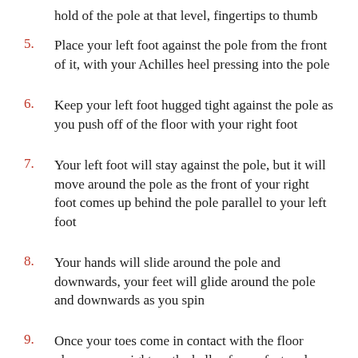hold of the pole at that level, fingertips to thumb
5.    Place your left foot against the pole from the front of it, with your Achilles heel pressing into the pole
6.    Keep your left foot hugged tight against the pole as you push off of the floor with your right foot
7.    Your left foot will stay against the pole, but it will move around the pole as the front of your right foot comes up behind the pole parallel to your left foot
8.    Your hands will slide around the pole and downwards, your feet will glide around the pole and downwards as you spin
9.    Once your toes come in contact with the floor place your weight on the balls of your feet and keep turning on the spot to then stand up slowly coming out of the